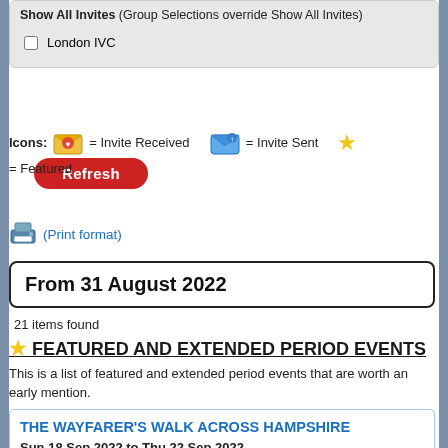Show All Invites (Group Selections override Show All Invites)
London IVC
Refresh
Icons: [envelope-received] = Invite Received  [envelope-sent] = Invite Sent  [star] = Featured
(Print format)
From 31 August 2022
21 items found
FEATURED AND EXTENDED PERIOD EVENTS
This is a list of featured and extended period events that are worth an early mention.
THE WAYFARER'S WALK ACROSS HAMPSHIRE
Sun 18 Sep 2022 to Thu 22 Sep 2022
SEPTEMBER DUBROVNIK HOLIDAY